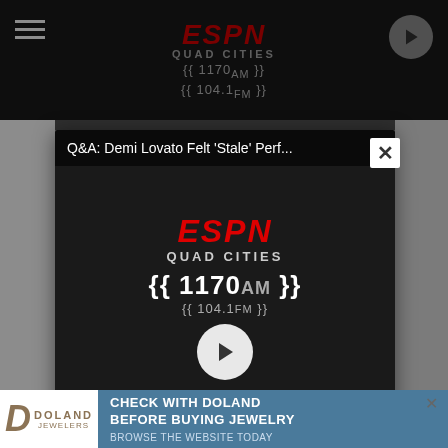[Figure (screenshot): ESPN Quad Cities radio station website screenshot showing modal popup dialog. Top banner: ESPN Quad Cities 1170AM / 104.1FM radio logo on dark background. Modal contains: video thumbnail with ESPN logo and play button, download CTA text, Get Our Free Mobile App button, Also listen on Amazon Alexa text. Bottom: Doland Jewelers advertisement banner.]
Q&A: Demi Lovato Felt 'Stale' Perf...
DOWNLOAD THE ESPN 104.1 FM AND 1170AM MOBILE APP
GET OUR FREE MOBILE APP
Also listen on:  amazon alexa
CHECK WITH DOLAND BEFORE BUYING JEWELRY
BROWSE THE WEBSITE TODAY